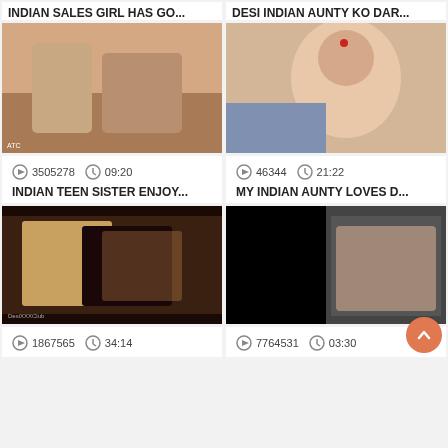INDIAN SALES GIRL HAS GO...
DESI INDIAN AUNTY KO DAR...
[Figure (screenshot): Video thumbnail - couple on bed]
[Figure (screenshot): Video thumbnail - woman in red]
3505278  09:20
46344  21:22
INDIAN TEEN SISTER ENJOY...
MY INDIAN AUNTY LOVES D...
[Figure (screenshot): Video thumbnail - two women]
[Figure (screenshot): Video thumbnail - dark scene]
1867565  34:14
7764531  03:30